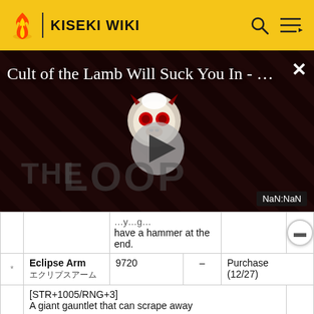KISEKI WIKI
[Figure (screenshot): Video overlay showing 'Cult of the Lamb Will Suck You In - ...' with a play button, THE LOOP watermark, and NaN:NaN timestamp badge on a dark striped background]
|  | Name | Cost | Effect | Obtain |
| --- | --- | --- | --- | --- |
|  |  |  | ...y...g... have a hammer at the end. |  |
| * | Eclipse Arm
エクリプスアーム | 9720 | – | Purchase (12/27) |
|  |  | [STR+1005/RNG+3]
A giant gauntlet that can scrape away |  |  |